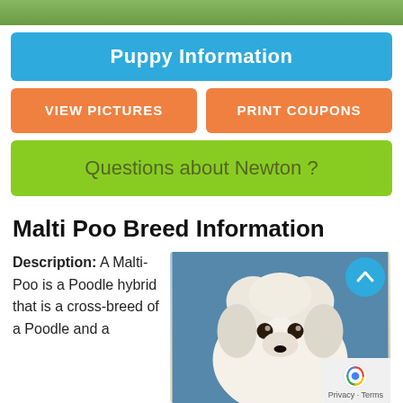[Figure (photo): Top partial photo of grass/outdoor scene]
Puppy Information
VIEW PICTURES
PRINT COUPONS
Questions about Newton ?
Malti Poo Breed Information
Description: A Malti-Poo is a Poodle hybrid that is a cross-breed of a Poodle and a
[Figure (photo): Photo of a white fluffy Malti-Poo puppy on a blue background]